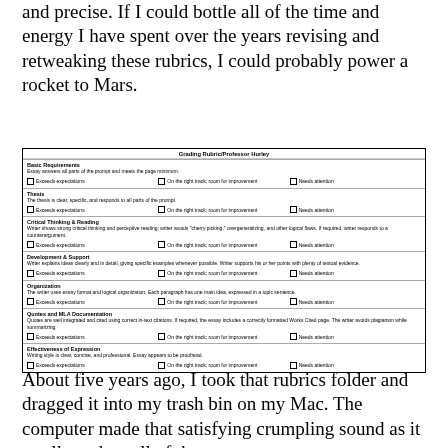and precise. If I could bottle all of the time and energy I have spent over the years revising and retweaking these rubrics, I could probably power a rocket to Mars.
| Grading Rubric/Professor Hurley |
| --- |
| Basic Requirements |  |  |
| Essay answers all parts of the prompt and meets the page minimum. |  |  |
| ☐Exceeds expectations | ☐On the right track; room for improvement | ☐Needs attention |
| Thesis |  |  |
| The thesis is clear, specific, and responds to all parts of the prompt. |  |  |
| ☐Exceeds expectations | ☐On the right track; room for improvement | ☐Needs attention |
| Critical Thinking & Reading |  |  |
| Writer shows strong critical thinking and perceptive reading; writer avoids "cherry picking," overgeneralizing, and other logical flaws. If required, writer responds to a counterargument. |  |  |
| ☐Exceeds expectations | ☐On the right track; room for improvement | ☐Needs attention |
| Development & Support |  |  |
| Writer explains ideas clearly and in detail, giving specific examples whenever possible. Writer supports his or her points with plenty of textual evidence. |  |  |
| ☐Exceeds expectations | ☐On the right track; room for improvement | ☐Needs attention |
| Organization |  |  |
| The writer uses essay format and logical organization. Each paragraph has one main idea, expressed in a topic sentence. |  |  |
| ☐Exceeds expectations | ☐On the right track; room for improvement | ☐Needs attention |
| Quotes and MLA Documentation |  |  |
| Quotes are well integrated and cited using correct in-text citations. If required, the essay includes a correctly formatted Works Cited page. The writer avoids plagiarism while summarizing. |  |  |
| ☐Exceeds expectations | ☐On the right track; room for improvement | ☐Needs attention |
| Effectiveness of Expression |  |  |
| Writing style is clear, concise, and professional. Essay appears to be proofread. |  |  |
| ☐Exceeds expectations | ☐On the right track; room for improvement | ☐Needs attention |
About five years ago, I took that rubrics folder and dragged it into my trash bin on my Mac. The computer made that satisfying crumpling sound as it swallowed up all of those